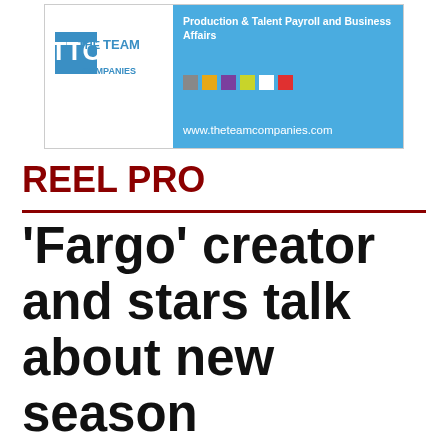[Figure (logo): The Team Companies logo banner with blue background. Left side shows TTC logo on white. Right side shows blue panel with text 'Production & Talent Payroll and Business Affairs', colored squares, and website www.theteamcompanies.com]
REEL PRO
'Fargo' creator and stars talk about new season